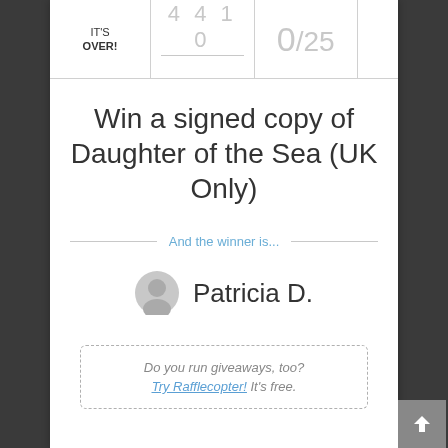IT'S OVER! | 4 4 1 0 | 0/25
Win a signed copy of Daughter of the Sea (UK Only)
And the winner is...
Patricia D.
Do you run giveaways, too? Try Rafflecopter! It's free.